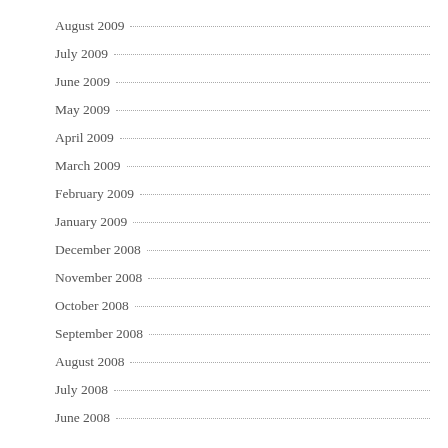August 2009
July 2009
June 2009
May 2009
April 2009
March 2009
February 2009
January 2009
December 2008
November 2008
October 2008
September 2008
August 2008
July 2008
June 2008